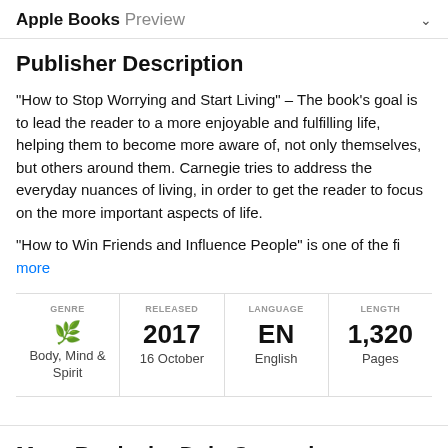Apple Books Preview
Publisher Description
"How to Stop Worrying and Start Living" – The book's goal is to lead the reader to a more enjoyable and fulfilling life, helping them to become more aware of, not only themselves, but others around them. Carnegie tries to address the everyday nuances of living, in order to get the reader to focus on the more important aspects of life.
"How to Win Friends and Influence People" is one of the fi more
| GENRE | RELEASED | LANGUAGE | LENGTH |
| --- | --- | --- | --- |
| Body, Mind & Spirit | 2017 16 October | EN English | 1,320 Pages |
More Books by Dale Carnegie
See All